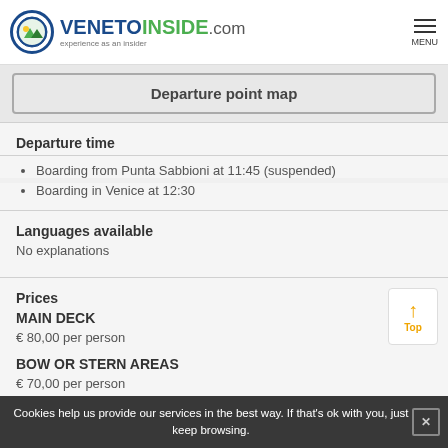VENETOINSIDE.com — experience as an insider
Departure point map
Departure time
Boarding from Punta Sabbioni at 11:45 (suspended)
Boarding in Venice at 12:30
Languages available
No explanations
Prices
MAIN DECK
€ 80,00 per person
BOW OR STERN AREAS
€ 70,00 per person
€ 0,00
Cookies help us provide our services in the best way. If that's ok with you, just keep browsing.